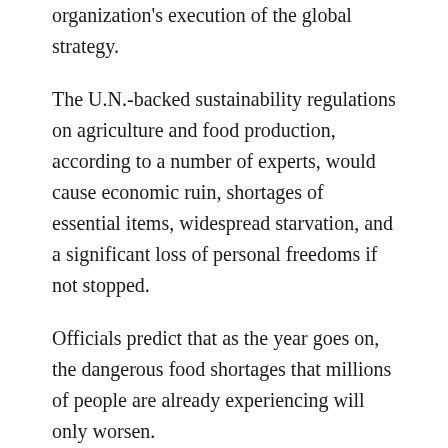organization's execution of the global strategy.
The U.N.-backed sustainability regulations on agriculture and food production, according to a number of experts, would cause economic ruin, shortages of essential items, widespread starvation, and a significant loss of personal freedoms if not stopped.
Officials predict that as the year goes on, the dangerous food shortages that millions of people are already experiencing will only worsen.
According to experts, there is a hidden goal behind everything.
According to U.N. papers, private land ownership is in the crosshairs as global food production and the global